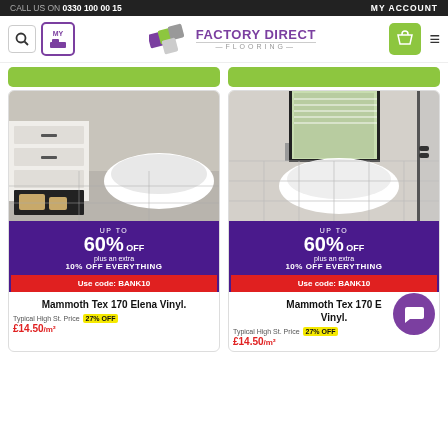CALL US ON 0330 100 00 15   MY ACCOUNT
[Figure (logo): Factory Direct Flooring logo with geometric tiles icon in green/grey/purple, company name in purple and dark text]
[Figure (photo): Bathroom with white freestanding bathtub, white dresser/cabinet with dark handles, towels on shelves, grey vinyl flooring]
[Figure (photo): Bathroom with white freestanding oval bathtub, large window with blinds, grey tile-look vinyl flooring, glass shower enclosure]
UP TO 60% OFF plus an extra 10% OFF EVERYTHING Use code: BANK10
UP TO 60% OFF plus an extra 10% OFF EVERYTHING Use code: BANK10
Mammoth Tex 170 Elena Vinyl.
Mammoth Tex 170 [name] Vinyl.
Typical High St. Price  27% OFF
Typical High St. Price  27% OFF